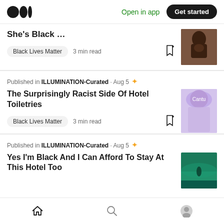[Figure (screenshot): Medium app header with logo, Open in app link, and Get started button]
She's Black ...
Black Lives Matter · 3 min read
Published in ILLUMINATION-Curated · Aug 5
The Surprisingly Racist Side Of Hotel Toiletries
Black Lives Matter · 3 min read
Published in ILLUMINATION-Curated · Aug 5
Yes I'm Black And I Can Afford To Stay At This Hotel Too